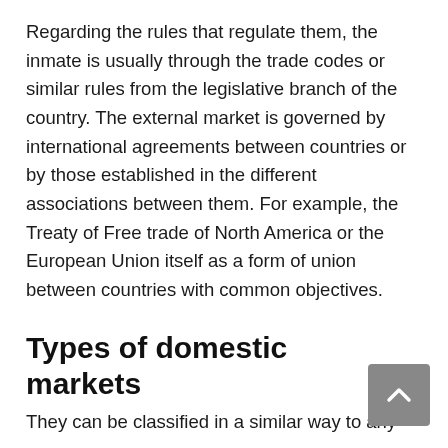Regarding the rules that regulate them, the inmate is usually through the trade codes or similar rules from the legislative branch of the country. The external market is governed by international agreements between countries or by those established in the different associations between them. For example, the Treaty of Free trade of North America or the European Union itself as a form of union between countries with common objectives.
Types of domestic markets
They can be classified in a similar way to any